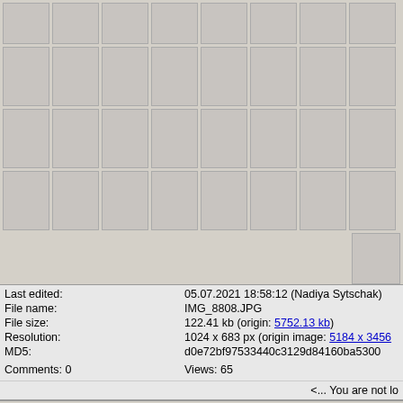[Figure (screenshot): Grid of thumbnail image placeholders arranged in rows, shown as gray boxes with borders]
| Field | Value |
| --- | --- |
| Last edited: | 05.07.2021 18:58:12 (Nadiya Sytschak) |
| File name: | IMG_8808.JPG |
| File size: | 122.41 kb (origin: 5752.13 kb) |
| Resolution: | 1024 x 683 px (origin image: 5184 x 3456) |
| MD5: | d0e72bf97533440c3129d84160ba5300 |
| Comments: 0 | Views: 65 |
<... You are not lo
Online: 79 unregistered users
BugGallery v.1.4  ©  UkrBIN.   PHP v. 7.2.24-0ubuntu0.18.04.13,   MySQL v. 5.7.39-0ubuntu0.18.04.2-log (mysqli).